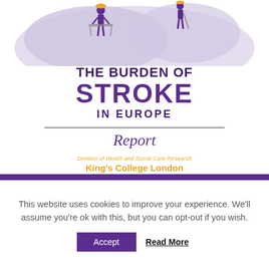[Figure (illustration): Partial view of a stylized map of Europe in light purple/grey tones with illustrated human figures of elderly people with walking aids, set against a white background. Only the top portion of the map is visible.]
THE BURDEN OF STROKE IN EUROPE
Report
Division of Health and Social Care Research
King's College London
This website uses cookies to improve your experience. We'll assume you're ok with this, but you can opt-out if you wish.
Accept  Read More